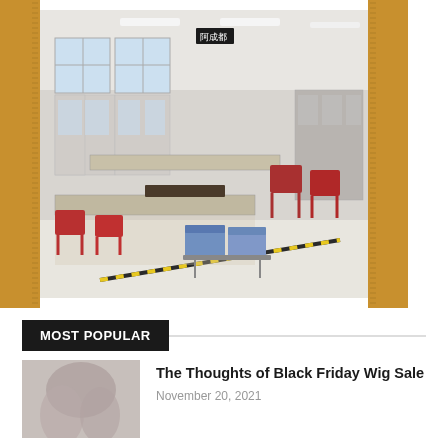[Figure (photo): A laboratory room with workbenches, red chairs, blue storage containers on a cart, white cabinets with glass doors along the walls, and yellow-black safety tape on the light-colored floor. Chinese characters on a sign near the ceiling. The photo is framed in a film-strip style with golden-brown borders and tick marks on left and right edges.]
MOST POPULAR
The Thoughts of Black Friday Wig Sale
November 20, 2021